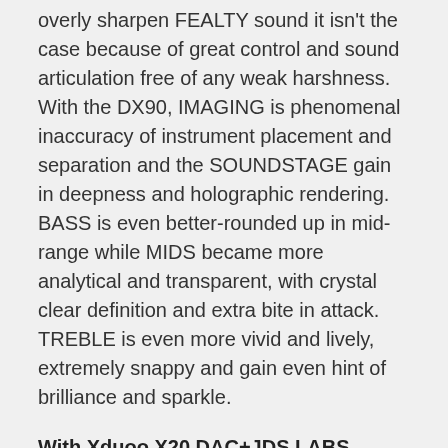overly sharpen FEALTY sound it isn't the case because of great control and sound articulation free of any weak harshness. With the DX90, IMAGING is phenomenal inaccuracy of instrument placement and separation and the SOUNDSTAGE gain in deepness and holographic rendering. BASS is even better-rounded up in mid-range while MIDS became more analytical and transparent, with crystal clear definition and extra bite in attack. TREBLE is even more vivid and lively, extremely snappy and gain even hint of brilliance and sparkle.
With Xduoo X20 DAC+JDS LABS ATOM
Another great pairing that injects extra fluidity to the sound and delivers plenty of power to show the true potential of the FEALTY. SOUNDSTAGE is